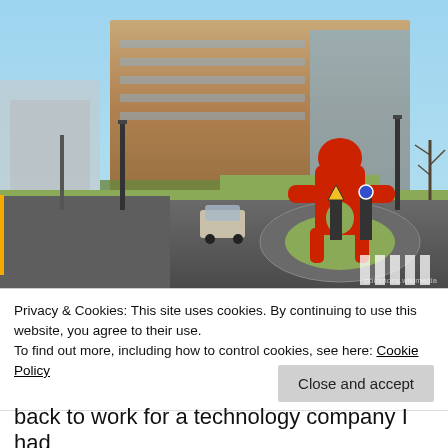[Figure (photo): Photograph of a modern brick office building with a large red abstract human-shaped sculpture at a roundabout in the foreground. A car is visible on the road approaching the roundabout. Street lights, traffic signs, and bare trees are visible. The sky is light blue.]
Privacy & Cookies: This site uses cookies. By continuing to use this website, you agree to their use.
To find out more, including how to control cookies, see here: Cookie Policy
Close and accept
back to work for a technology company I had